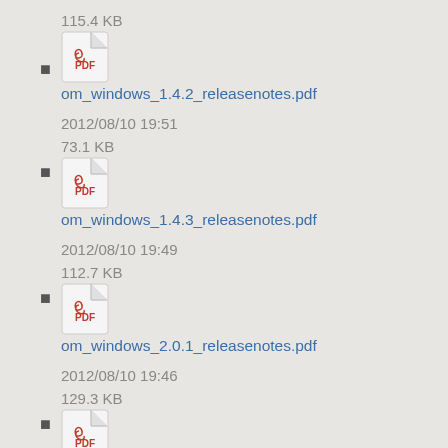115.4 KB
om_windows_1.4.2_releasenotes.pdf
2012/08/10 19:51
73.1 KB
om_windows_1.4.3_releasenotes.pdf
2012/08/10 19:49
112.7 KB
om_windows_2.0.1_releasenotes.pdf
2012/08/10 19:46
129.3 KB
om_windows_2.0.2_releasenotes.pdf